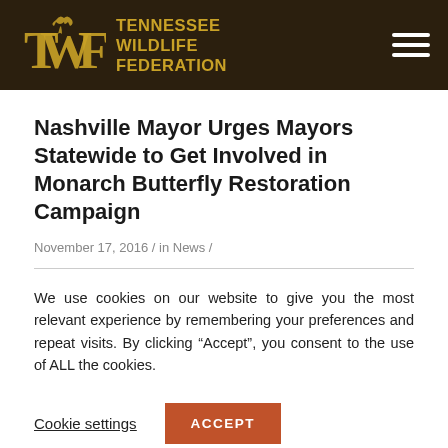TENNESSEE WILDLIFE FEDERATION
Nashville Mayor Urges Mayors Statewide to Get Involved in Monarch Butterfly Restoration Campaign
November 17, 2016 / in News /
We use cookies on our website to give you the most relevant experience by remembering your preferences and repeat visits. By clicking “Accept”, you consent to the use of ALL the cookies.
Cookie settings  ACCEPT